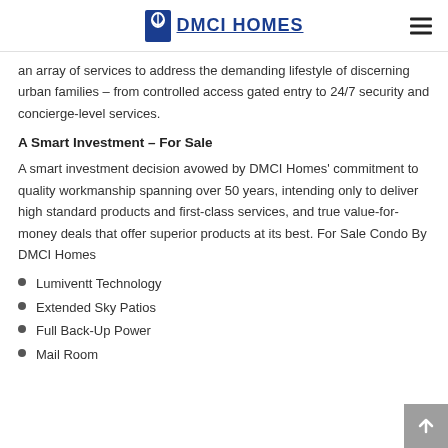DMCI HOMES
an array of services to address the demanding lifestyle of discerning urban families – from controlled access gated entry to 24/7 security and concierge-level services.
A Smart Investment – For Sale
A smart investment decision avowed by DMCI Homes' commitment to quality workmanship spanning over 50 years, intending only to deliver high standard products and first-class services, and true value-for-money deals that offer superior products at its best. For Sale Condo By DMCI Homes
Lumiventt Technology
Extended Sky Patios
Full Back-Up Power
Mail Room